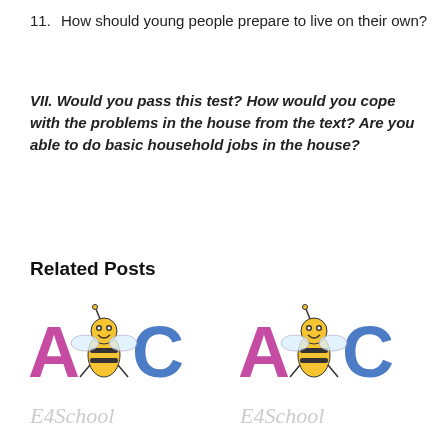11. How should young people prepare to live on their own?
VII. Would you pass this test? How would you cope with the problems in the house from the text? Are you able to do basic household jobs in the house?
Related Posts
[Figure (logo): ABC E4School logo repeated twice side by side — cartoon bee mascot between colorful letters A, B, C with cursive 'E4School' text beneath]
[Figure (logo): ABC E4School logo — same as left logo]